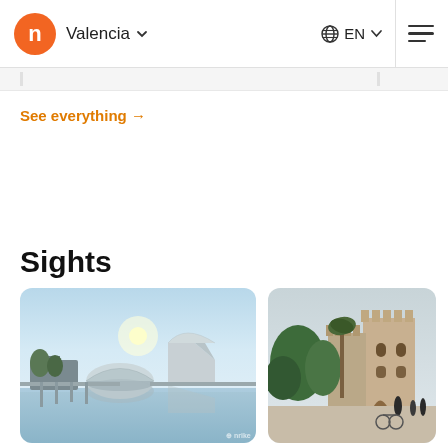Valencia | EN | navigation menu
See everything →
Sights
[Figure (photo): City of Arts and Sciences Valencia, modern architecture with dome and futuristic buildings reflected in water, blue sky]
[Figure (photo): Torre de Serranos fortress gate in Valencia with palm trees and people walking, outdoor urban scene]